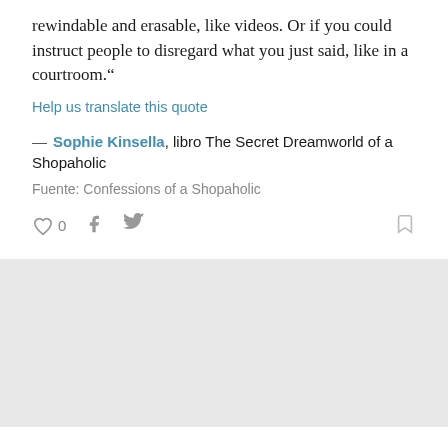rewindable and erasable, like videos. Or if you could instruct people to disregard what you just said, like in a courtroom.“
Help us translate this quote
— Sophie Kinsella, libro The Secret Dreamworld of a Shopaholic
Fuente: Confessions of a Shopaholic
[Figure (other): Social action icons: heart/like with count 0, Facebook share icon, Twitter share icon, bookmark icon]
[Figure (other): Gray placeholder/advertisement box]
x